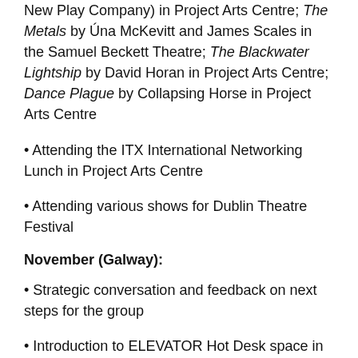New Play Company) in Project Arts Centre; The Metals by Úna McKevitt and James Scales in the Samuel Beckett Theatre; The Blackwater Lightship by David Horan in Project Arts Centre; Dance Plague by Collapsing Horse in Project Arts Centre
• Attending the ITX International Networking Lunch in Project Arts Centre
• Attending various shows for Dublin Theatre Festival
November (Galway):
• Strategic conversation and feedback on next steps for the group
• Introduction to ELEVATOR Hot Desk space in Druid offices
December (Dublin):
• Commissioning and Venue/Company